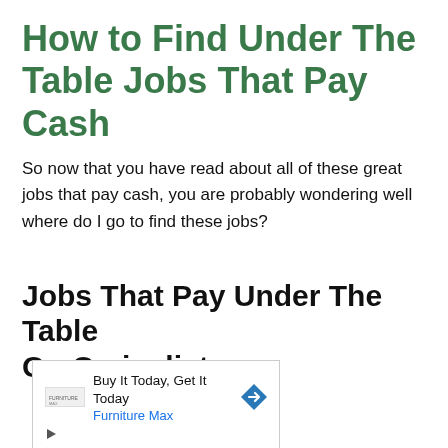How to Find Under The Table Jobs That Pay Cash
So now that you have read about all of these great jobs that pay cash, you are probably wondering well where do I go to find these jobs?
Jobs That Pay Under The Table On Craigslist
[Figure (other): Advertisement box with Furniture Max logo, heading 'Buy It Today, Get It Today', link text 'Furniture Max', a blue arrow/navigation icon, play button icon, and close (X) icon.]